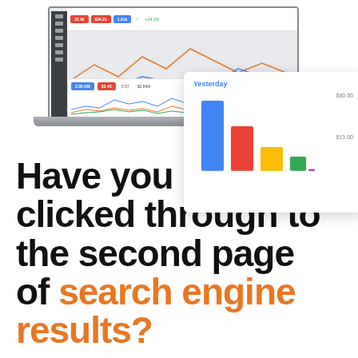[Figure (screenshot): Google Ads dashboard screenshot shown on a laptop screen, with a floating popup card showing a bar chart titled 'Yesterday' with colored bars (blue, red, yellow, green, purple). The bar chart shows revenue values with labels $80.00 and $15.00 on the y-axis.]
Have you ever clicked through to the second page of Google's search engine results?